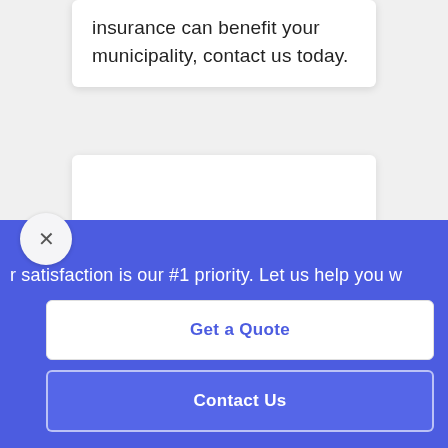insurance can benefit your municipality, contact us today.
[Figure (other): White card/panel — empty content area]
r satisfaction is our #1 priority. Let us help you w
Get a Quote
Contact Us